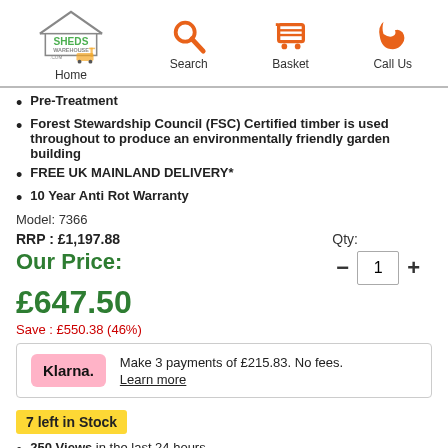[Figure (logo): Sheds Warehouse .com logo with forklift graphic]
[Figure (logo): Search icon (magnifying glass, orange)]
[Figure (logo): Basket icon (shopping cart, orange)]
[Figure (logo): Call Us icon (phone, orange)]
Pre-Treatment
Forest Stewardship Council (FSC) Certified timber is used throughout to produce an environmentally friendly garden building
FREE UK MAINLAND DELIVERY*
10 Year Anti Rot Warranty
Model: 7366
RRP : £1,197.88
Our Price: £647.50
Save : £550.38 (46%)
Qty: 1
Klarna. Make 3 payments of £215.83. No fees. Learn more
7 left in Stock
250 Views in the last 24 hours